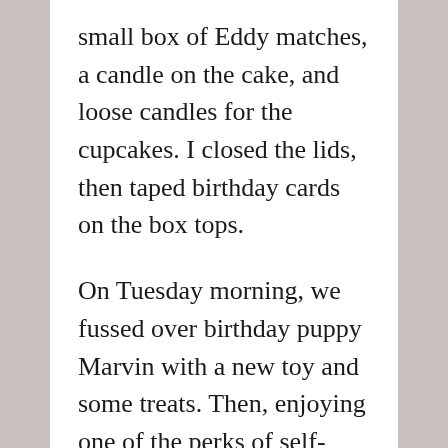small box of Eddy matches, a candle on the cake, and loose candles for the cupcakes. I closed the lids, then taped birthday cards on the box tops.
On Tuesday morning, we fussed over birthday puppy Marvin with a new toy and some treats. Then, enjoying one of the perks of self-employment, I took off for an hour. After placing the birthday boxes in the front seat of the car, I drove along